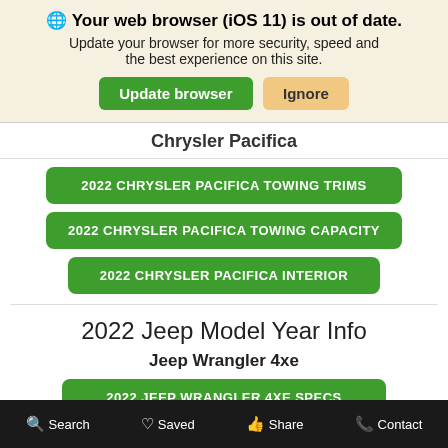🌐 Your web browser (iOS 11) is out of date. Update your browser for more security, speed and the best experience on this site.
Update browser | Ignore
Chrysler Pacifica
2022 CHRYSLER PACIFICA TOWING TRIMS
2022 CHRYSLER PACIFICA TOWING CAPACITY
2022 CHRYSLER PACIFICA INTERIOR
2022 Jeep Model Year Info
Jeep Wrangler 4xe
2022 JEEP WRANGLER 4XE SPECS
Search  Saved  Share  Contact